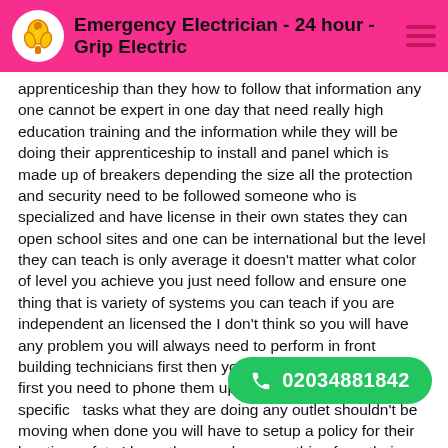Emergency Electrician - 24 hour - Grip Electric
apprenticeship than they how to follow that information any one cannot be expert in one day that need really high education training and the information while they will be doing their apprenticeship to install and panel which is made up of breakers depending the size all the protection and security need to be followed someone who is specialized and have license in their own states they can open school sites and one can be international but the level they can teach is only average it doesn't matter what color of level you achieve you just need follow and ensure one thing that is variety of systems you can teach if you are independent an licensed the I don't think so you will have any problem you will always need to perform in front building technicians first then you can receive any respect first you need to phone them up and then need to view their specific  tasks what they are doing any outlet shouldn't be moving when done you will have to setup a policy for their location safety I hope they can learn anything from their apprentice there are many companies who are providing electrical and electronic general training including safety one special thing about installing outlets is that these should be according to buildings code which are unique to their states and in international code information about outlets before installing in different states are different each state have their own need to fulfill some companies provide opportunities to learn during